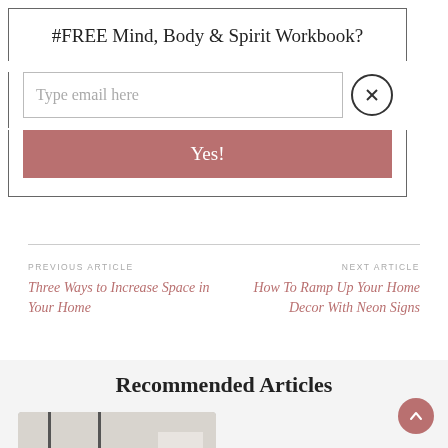#FREE Mind, Body & Spirit Workbook?
Type email here
Yes!
PREVIOUS ARTICLE
Three Ways to Increase Space in Your Home
NEXT ARTICLE
How To Ramp Up Your Home Decor With Neon Signs
Recommended Articles
[Figure (photo): Interior photo showing pendant lights hanging over a counter or kitchen area]